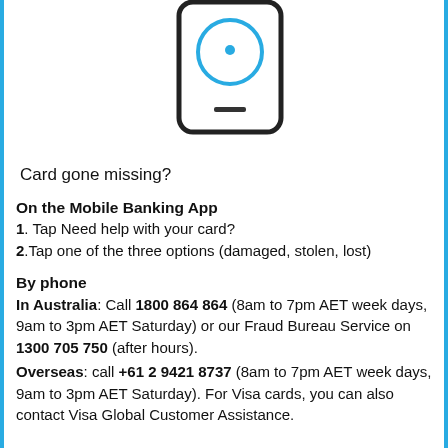[Figure (illustration): Partial illustration of a smartphone with a blue circular icon (face/smiley outline with dot) and a small horizontal bar at the bottom, shown in a rounded rectangle outline.]
Card gone missing?
On the Mobile Banking App
1. Tap Need help with your card?
2.Tap one of the three options (damaged, stolen, lost)
By phone
In Australia: Call 1800 864 864 (8am to 7pm AET week days, 9am to 3pm AET Saturday) or our Fraud Bureau Service on 1300 705 750 (after hours).
Overseas: call +61 2 9421 8737 (8am to 7pm AET week days, 9am to 3pm AET Saturday). For Visa cards, you can also contact Visa Global Customer Assistance.